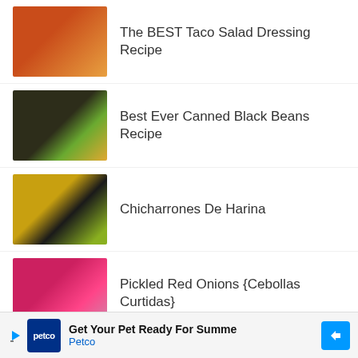The BEST Taco Salad Dressing Recipe
Best Ever Canned Black Beans Recipe
Chicharrones De Harina
Pickled Red Onions {Cebollas Curtidas}
Shredded Beef For
Get Your Pet Ready For Summe Petco